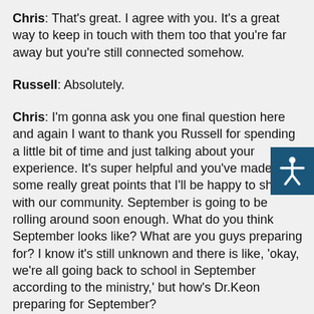Chris: That's great. I agree with you. It's a great way to keep in touch with them too that you're far away but you're still connected somehow.
Russell: Absolutely.
Chris: I'm gonna ask you one final question here and again I want to thank you Russell for spending a little bit of time and just talking about your experience. It's super helpful and you've made  some really great points that I'll be happy to share with our community. September is going to be rolling around soon enough. What do you think September looks like? What are you guys preparing for? I know it's still unknown and there is like, 'okay, we're all going back to school in September according to the ministry,' but how's Dr.Keon preparing for September?
Russell: We've been doing a digital renewal project,